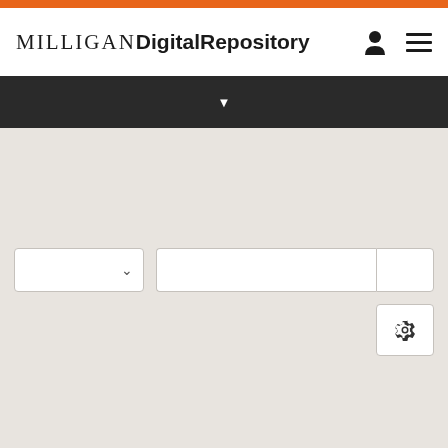Milligan Digital Repository — navigation header with user icon and menu icon
[Figure (screenshot): Dark navigation bar with a dropdown arrow indicator in the center]
[Figure (screenshot): Search interface with a dropdown selector on the left, a text search input in the middle, and a search button on the right, plus a settings/gear button below on the right]